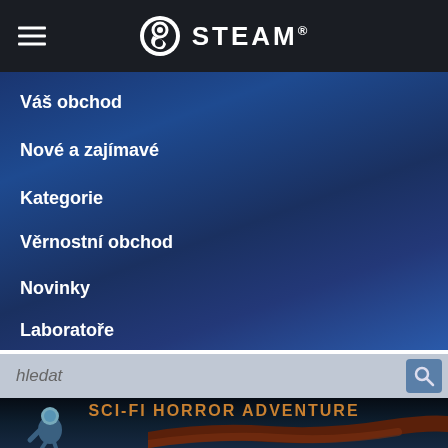STEAM
Váš obchod
Nové a zajímavé
Kategorie
Věrnostní obchod
Novinky
Laboratoře
hledat
[Figure (screenshot): Steam mobile app screenshot showing navigation menu open with options: Váš obchod, Nové a zajímavé, Kategorie, Věrnostní obchod, Novinky, Laboratoře, a search bar, and bottom portion showing a Sci-Fi Horror Adventure game banner with astronaut and creature imagery]